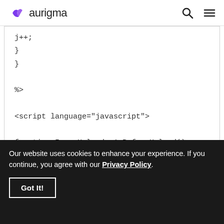aurigma
j++;
}
}

%>

<script language="javascript">

function ImageUploader1_BeforeUpload()
{
Our website uses cookies to enhance your experience. If you continue, you agree with our Privacy Policy.
Got It!